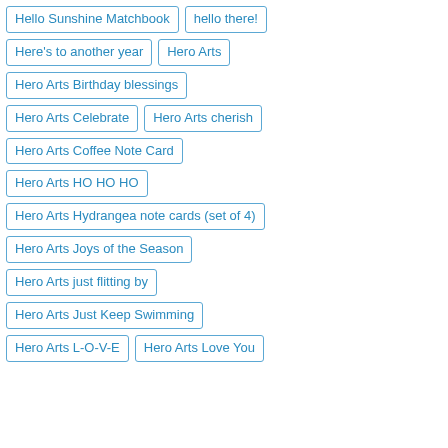Hello Sunshine Matchbook
hello there!
Here's to another year
Hero Arts
Hero Arts Birthday blessings
Hero Arts Celebrate
Hero Arts cherish
Hero Arts Coffee Note Card
Hero Arts HO HO HO
Hero Arts Hydrangea note cards (set of 4)
Hero Arts Joys of the Season
Hero Arts just flitting by
Hero Arts Just Keep Swimming
Hero Arts L-O-V-E
Hero Arts Love You